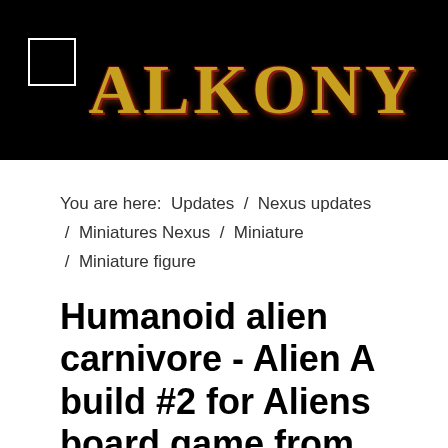[Figure (logo): ALKONY logo in decorative fantasy-style lettering on black background, with a small white square outline on the left side]
You are here: Updates / Nexus updates / Miniatures Nexus / Miniature / Miniature figure
Humanoid alien carnivore - Alien A build #2 for Aliens board game from Gale Force Nine, 2020 - Miniature creature review